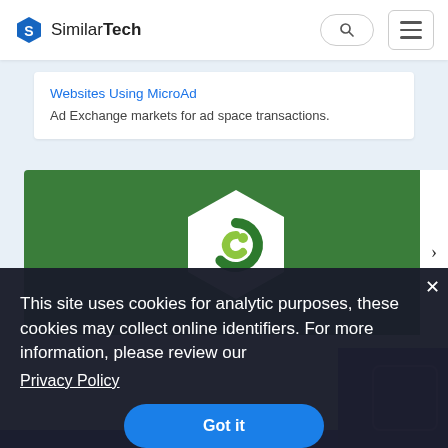[Figure (logo): SimilarTech logo with blue hexagon icon and wordmark, search button, and hamburger menu]
Websites Using MicroAd
Ad Exchange markets for ad space transactions.
[Figure (illustration): Green banner with white hexagon containing a green spiral/loop logo]
This site uses cookies for analytic purposes, these cookies may collect online identifiers. For more information, please review our
Privacy Policy
Got it